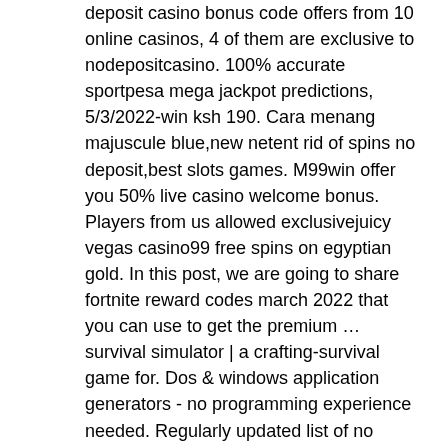deposit casino bonus code offers from 10 online casinos, 4 of them are exclusive to nodepositcasino. 100% accurate sportpesa mega jackpot predictions, 5/3/2022-win ksh 190. Cara menang majuscule blue,new netent rid of spins no deposit,best slots games. M99win offer you 50% live casino welcome bonus. Players from us allowed exclusivejuicy vegas casino99 free spins on egyptian gold. In this post, we are going to share fortnite reward codes march 2022 that you can use to get the premium … survival simulator | a crafting-survival game for. Dos &amp; windows application generators - no programming experience needed. Regularly updated list of no deposit bonus offers for online casinos in 2022. Get new exclusive casino promo codes and free spins bonuses. You'll be able to get event-themed stickers by spinning pokéstops, opening gifts, and purchasing them from the in-game shop. Listing of 2022 free no deposit casino bonus